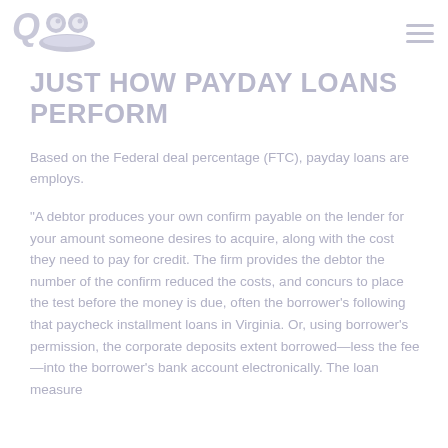[Figure (logo): Q00 brand logo with duck/animal motif in gray tones]
JUST HOW PAYDAY LOANS PERFORM
Based on the Federal deal percentage (FTC), payday loans are employs.
“A debtor produces your own confirm payable on the lender for your amount someone desires to acquire, along with the cost they need to pay for credit. The firm provides the debtor the number of the confirm reduced the costs, and concurs to place the test before the money is due, often the borrower’s following that paycheck installment loans in Virginia. Or, using borrower’s permission, the corporate deposits extent borrowed—less the fee—into the borrower’s bank account electronically. The loan measure